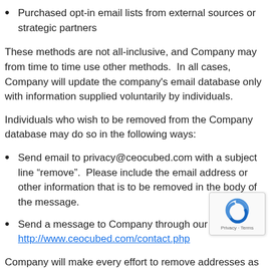Purchased opt-in email lists from external sources or strategic partners
These methods are not all-inclusive, and Company may from time to time use other methods.  In all cases, Company will update the company's email database only with information supplied voluntarily by individuals.
Individuals who wish to be removed from the Company database may do so in the following ways:
Send email to privacy@ceocubed.com with a subject line “remove”.  Please include the email address or other information that is to be removed in the body of the message.
Send a message to Company through our link http://www.ceocubed.com/contact.php
Company will make every effort to remove addresses as possible on request, but the company cannot guarantee that an